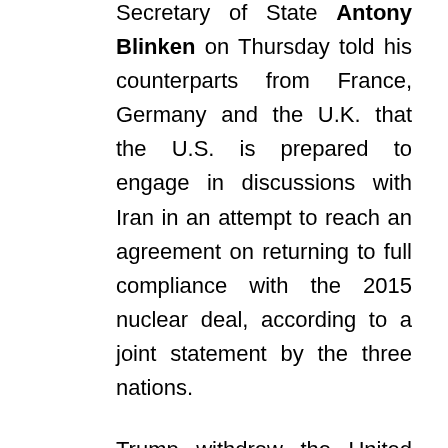Secretary of State Antony Blinken on Thursday told his counterparts from France, Germany and the U.K. that the U.S. is prepared to engage in discussions with Iran in an attempt to reach an agreement on returning to full compliance with the 2015 nuclear deal, according to a joint statement by the three nations.
Trump withdrew the United States from the Obama administration's pact and renewed sanctions against Tehran, a step that Biden, as a candidate, said was shortsighted and dangerous.
But the joint statement from Blinken and the other ministers made clear that the Biden administration continues to expect Iran to